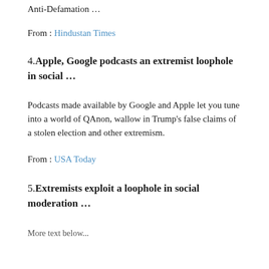Anti-Defamation …
From : Hindustan Times
4. Apple, Google podcasts an extremist loophole in social …
Podcasts made available by Google and Apple let you tune into a world of QAnon, wallow in Trump's false claims of a stolen election and other extremism.
From : USA Today
5. Extremists exploit a loophole in social moderation …
More text below...